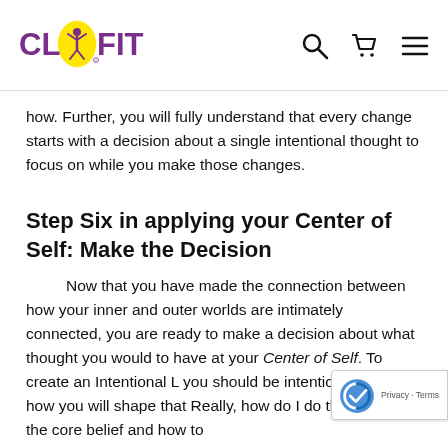[Figure (logo): ClyFit logo with yellow circular icon containing a figure with raised arm, purple text reading CLYFIT]
how. Further, you will fully understand that every change starts with a decision about a single intentional thought to focus on while you make those changes.
Step Six in applying your Center of Self: Make the Decision
Now that you have made the connection between how your inner and outer worlds are intimately connected, you are ready to make a decision about what thought you would to have at your Center of Self. To create an Intentional L you should be intentional about how you will shape that Really, how do I do that? think of the core belief and how to